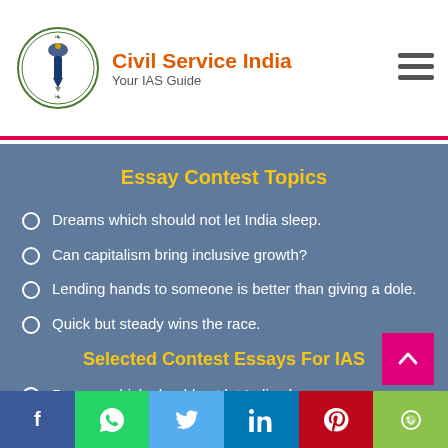[Figure (logo): Civil Service India logo with Ashoka emblem and pen]
Civil Service India
Your IAS Guide
Essay Contest Topics
Dreams which should not let India sleep.
Can capitalism bring inclusive growth?
Lending hands to someone is better than giving a dole.
Quick but steady wins the race.
Selected Contest Essays For IAS
Dreams which should not let India sleep.
Views : 164